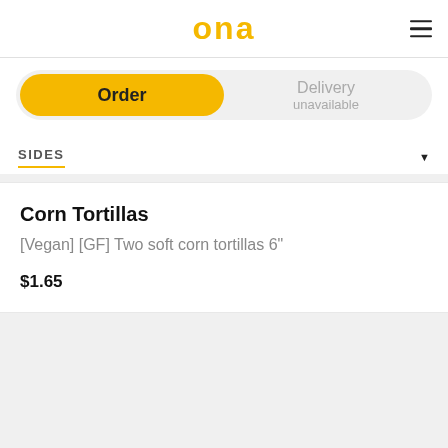ona
Order | Delivery unavailable
SIDES
Corn Tortillas
[Vegan] [GF] Two soft corn tortillas 6"
$1.65